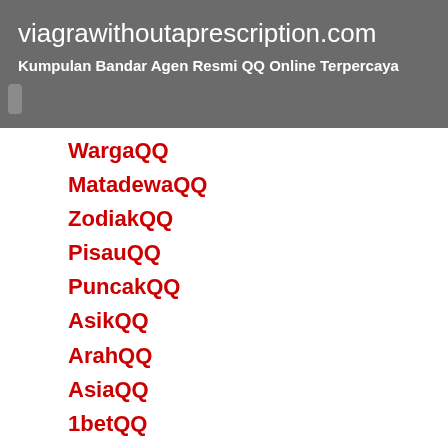viagrawithoutaprescription.com
Kumpulan Bandar Agen Resmi QQ Online Terpercaya
WargaQQ
MatadewaQQ
ZodiakQQ
PisauQQ
PuncakQQ
AsikQQ
ArahQQ
AsiaQQ
1betQQ
https://bayabi.org/
IsiQQ
Bandarq228
1betQQ
Capsa365
ProQQ